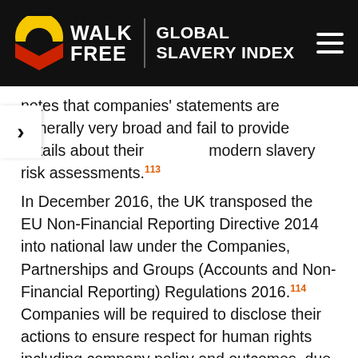WALK FREE | GLOBAL SLAVERY INDEX
notes that companies' statements are generally very broad and fail to provide details about their modern slavery risk assessments.113
In December 2016, the UK transposed the EU Non-Financial Reporting Directive 2014 into national law under the Companies, Partnerships and Groups (Accounts and Non-Financial Reporting) Regulations 2016.114 Companies will be required to disclose their actions to ensure respect for human rights including company policy and outcomes, due diligence processes, and principal risks. It is expected that this will include actions to address modern slavery. The regulations apply to company reports for financial years commencing on or after 1 January 2017.115